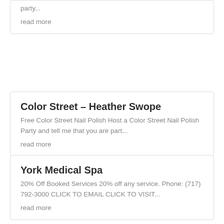party...
read more
Color Street – Heather Swope
Free Color Street Nail Polish Host a Color Street Nail Polish Party and tell me that you are part...
read more
York Medical Spa
20% Off Booked Services 20% off any service. Phone: (717) 792-3000 CLICK TO EMAIL CLICK TO VISIT...
read more